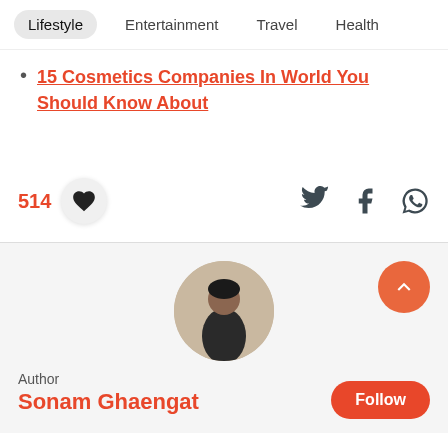Lifestyle  Entertainment  Travel  Health
15 Cosmetics Companies In World You Should Know About
514
[Figure (infographic): Social interaction bar with like count 514, heart button, and Twitter, Facebook, WhatsApp share icons]
[Figure (photo): Circular author profile photo of Sonam Ghaengat]
Author
Sonam Ghaengat